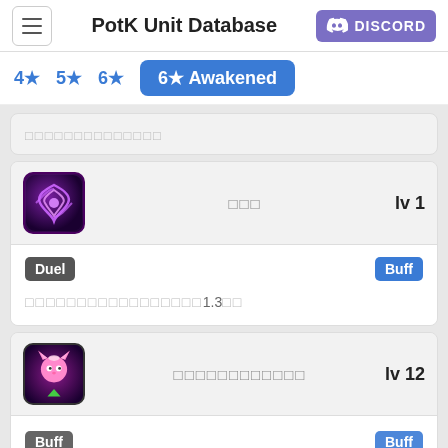PotK Unit Database | DISCORD
4★  5★  6★  6★ Awakened
[tofu characters]
[Figure (screenshot): Purple swirl skill icon]
[tofu characters]  lv 1
Duel  Buff
[tofu characters]1.3[tofu]
[Figure (screenshot): Pink cat skill icon with green arrow]
[tofu characters]  lv 12
[partial bottom card]